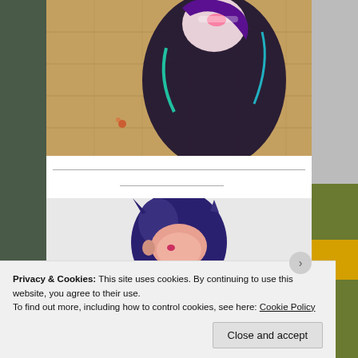[Figure (illustration): Digital illustration of an anime-style character in a dark outfit with purple and teal hair highlights, crouching or leaning against a wooden tile background]
[Figure (illustration): Partial view of another anime-style character with dark blue/purple hair, only the top of the head visible]
Privacy & Cookies: This site uses cookies. By continuing to use this website, you agree to their use.
To find out more, including how to control cookies, see here: Cookie Policy
Close and accept